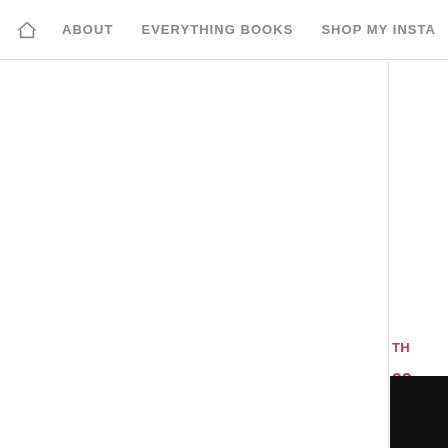HOME | ABOUT | EVERYTHING BOOKS | SHOP MY INSTA
TH
99